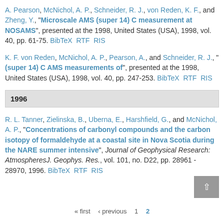A. Pearson, McNichol, A. P., Schneider, R. J., von Reden, K. F., and Zheng, Y., "Microscale AMS (super 14) C measurement at NOSAMS", presented at the 1998, United States (USA), 1998, vol. 40, pp. 61-75. BibTeX RTF RIS
K. F. von Reden, McNichol, A. P., Pearson, A., and Schneider, R. J., "(super 14) C AMS measurements of", presented at the 1998, United States (USA), 1998, vol. 40, pp. 247-253. BibTeX RTF RIS
1996
R. L. Tanner, Zielinska, B., Uberna, E., Harshfield, G., and McNichol, A. P., "Concentrations of carbonyl compounds and the carbon isotopy of formaldehyde at a coastal site in Nova Scotia during the NARE summer intensive", Journal of Geophysical Research: AtmospheresJ. Geophys. Res., vol. 101, no. D22, pp. 28961 - 28970, 1996. BibTeX RTF RIS
« first ‹ previous 1 2